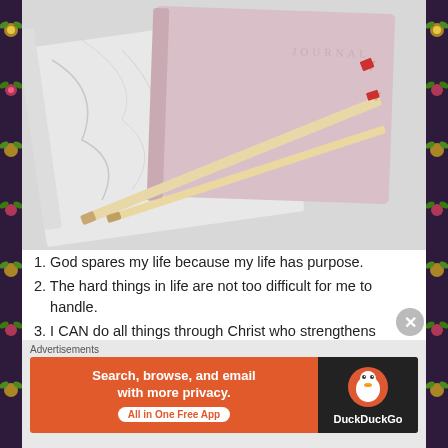[Figure (photo): Photo of two notebooks (one marble-patterned, one pink with 'JOURNAL' embossed) with two colored pencils with red tips resting on top, on a white/light gray surface.]
1. God spares my life because my life has purpose.
2. The hard things in life are not too difficult for me to handle.
3. I CAN do all things through Christ who strengthens me. (Philippians 4:13)
Advertisements
[Figure (screenshot): DuckDuckGo advertisement banner. Orange background with text: Search, browse, and email with more privacy. All in One Free App. DuckDuckGo logo on dark background on right side.]